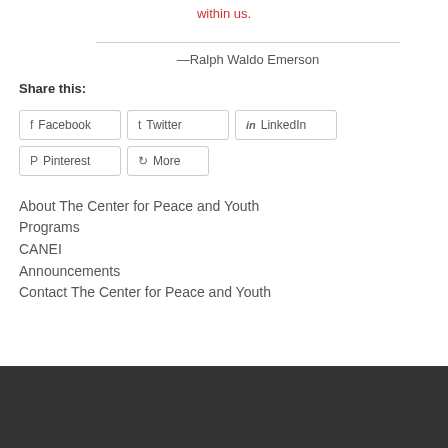within us.
—Ralph Waldo Emerson
Share this:
Facebook
Twitter
LinkedIn
Pinterest
More
About The Center for Peace and Youth Programs
CANEI
Announcements
Contact The Center for Peace and Youth